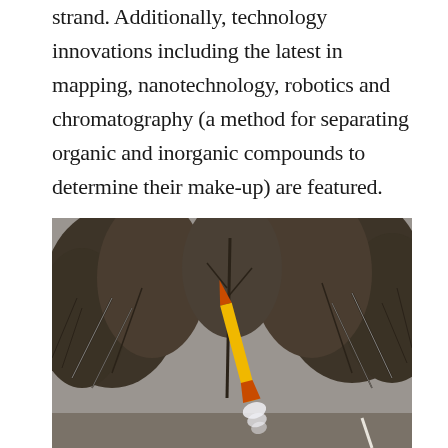strand. Additionally, technology innovations including the latest in mapping, nanotechnology, robotics and chromatography (a method for separating organic and inorganic compounds to determine their make-up) are featured.
[Figure (photo): Outdoor winter scene showing bare leafless trees covered with ice/snow. A yellow and orange rocket or similar elongated object is visible in the center-foreground, appearing to launch or be positioned diagonally among the trees. The background shows dense bare branches against a grey winter sky.]